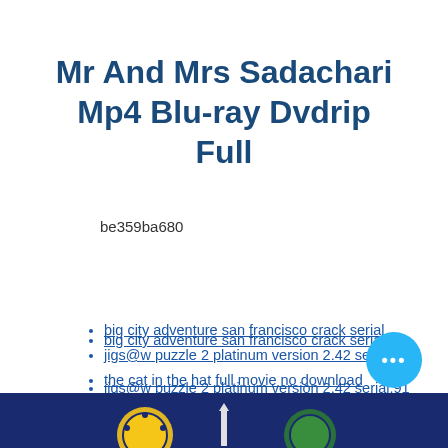Mr And Mrs Sadachari Mp4 Blu-ray Dvdrip Full
be359ba680
big city adventure san francisco crack serial
jigs@w puzzle 2 platinum version 2.42 serial.91
the cat in the hat full movie no download
[Figure (other): Dark blue banner at bottom of page with decorative circular emblems/logos]